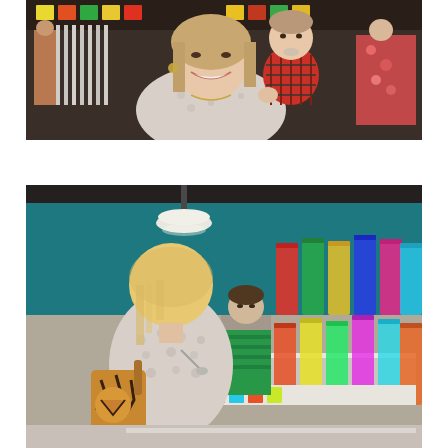[Figure (photo): A smiling woman holding a baby dressed in a red plaid outfit inside what appears to be a candy or grocery store. Other people are visible in the background near store shelves.]
[Figure (photo): A young child with blonde hair viewed from behind, wearing a light-colored patterned top and carrying a tiger-print bag, standing at a candy counter with colorful jars of candy on shelves in a teal/turquoise-walled store. A woman can be seen behind the counter.]